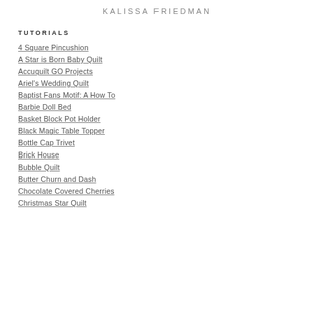KALISSA FRIEDMAN
TUTORIALS
4 Square Pincushion
A Star is Born Baby Quilt
Accuquilt GO Projects
Ariel's Wedding Quilt
Baptist Fans Motif: A How To
Barbie Doll Bed
Basket Block Pot Holder
Black Magic Table Topper
Bottle Cap Trivet
Brick House
Bubble Quilt
Butter Churn and Dash
Chocolate Covered Cherries
Christmas Star Quilt